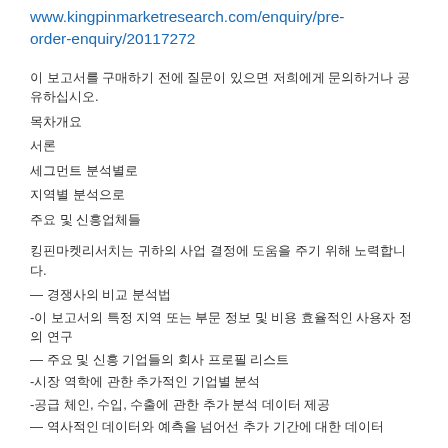www.kingpinmarketresearch.com/enquiry/pre-order-enquiry/20117272
이 보고서를 구매하기 전에 질문이 있으면 저희에게 문의하거나 공유하십시오.
목차개요
서론
세그먼트 분석별로
지역별 분석으로
주요 및 신흥업체들
킹핀마켓리서치는 귀하의 사업 결정에 도움을 주기 위해 노력합니다.
— 경쟁사의 비교 분석법
-이 보고서의 특정 지역 또는 부문 정보 및 비용 효율적인 사용자 정의 연구
— 주요 및 신흥 기업들의 회사 프로필 리스트
-시장 역학에 관한 추가적인 기업별 분석
-공급 체인, 수입, 수출에 관한 추가 분석 데이터 제공
— 역사적인 데이터와 예측을 넘어선 추가 기간에 대한 데이터